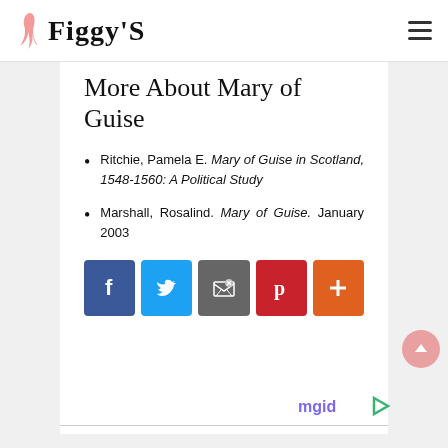Figgy'S
More About Mary of Guise
Ritchie, Pamela E. Mary of Guise in Scotland, 1548-1560: A Political Study
Marshall, Rosalind. Mary of Guise. January 2003
[Figure (infographic): Social sharing buttons: Facebook (blue), Twitter (light blue), Email (dark grey), Pinterest (red), More/Plus (orange)]